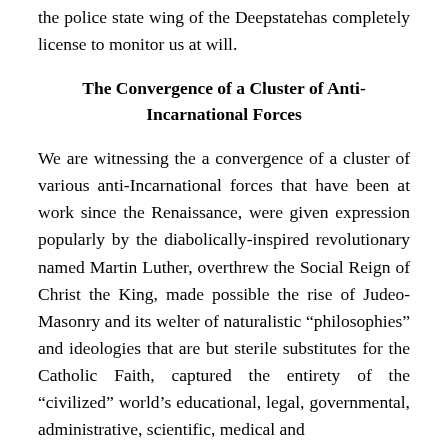the police state wing of the Deepstatehas completely license to monitor us at will.
The Convergence of a Cluster of Anti-Incarnational Forces
We are witnessing the a convergence of a cluster of various anti-Incarnational forces that have been at work since the Renaissance, were given expression popularly by the diabolically-inspired revolutionary named Martin Luther, overthrew the Social Reign of Christ the King, made possible the rise of Judeo-Masonry and its welter of naturalistic “philosophies” and ideologies that are but sterile substitutes for the Catholic Faith, captured the entirety of the “civilized” world’s educational, legal, governmental, administrative, scientific, medical and